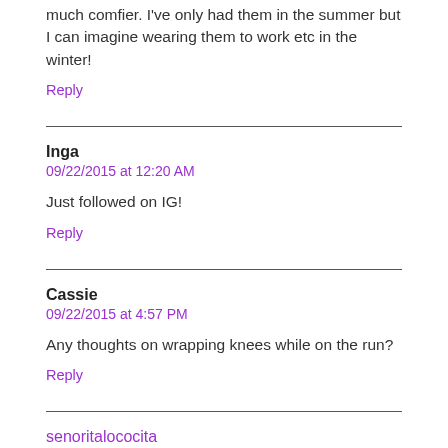much comfier. I've only had them in the summer but I can imagine wearing them to work etc in the winter!
Reply
Inga
09/22/2015 at 12:20 AM
Just followed on IG!
Reply
Cassie
09/22/2015 at 4:57 PM
Any thoughts on wrapping knees while on the run?
Reply
senoritalococita
09/22/2015 at 5:49 PM